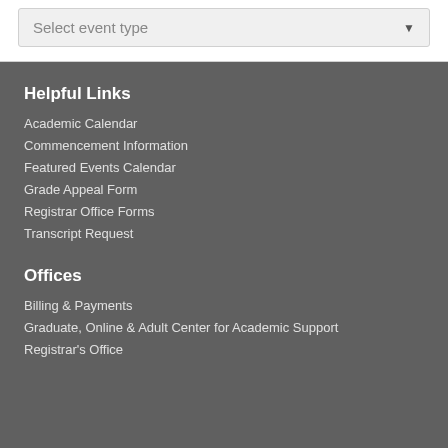[Figure (screenshot): Dropdown select box labeled 'Select event type' with a downward arrow indicator]
Helpful Links
Academic Calendar
Commencement Information
Featured Events Calendar
Grade Appeal Form
Registrar Office Forms
Transcript Request
Offices
Billing & Payments
Graduate, Online & Adult Center for Academic Support
Registrar's Office